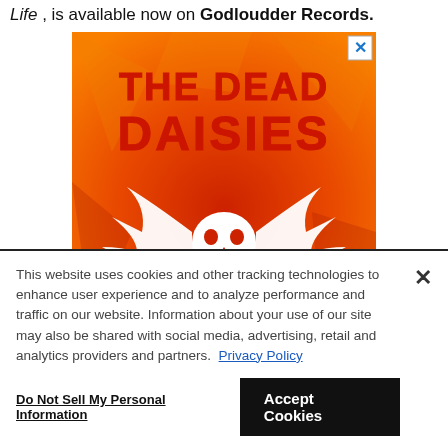Life , is available now on Godloudder Records.
[Figure (illustration): The Dead Daisies band promotional image on orange/red gradient background with skull and wings logo and partial text 'We Call' at bottom. Close button (X) in top right corner.]
This website uses cookies and other tracking technologies to enhance user experience and to analyze performance and traffic on our website. Information about your use of our site may also be shared with social media, advertising, retail and analytics providers and partners. Privacy Policy
Do Not Sell My Personal Information
Accept Cookies